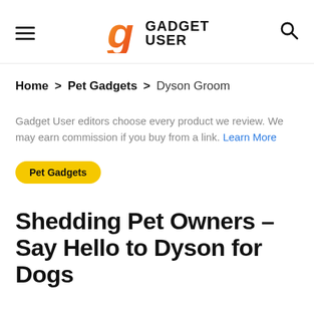Gadget User
Home > Pet Gadgets > Dyson Groom
Gadget User editors choose every product we review. We may earn commission if you buy from a link. Learn More
Pet Gadgets
Shedding Pet Owners – Say Hello to Dyson for Dogs